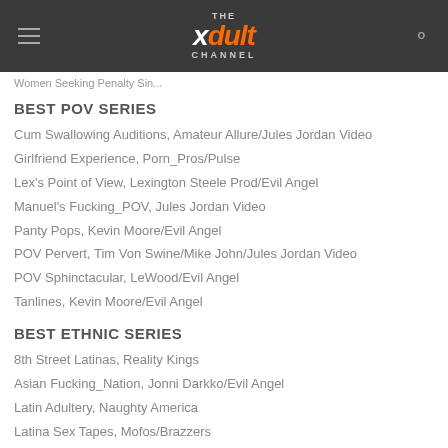The Xdult Channel
Women Seeking Penalty Sins...
BEST POV SERIES
Cum Swallowing Auditions, Amateur Allure/Jules Jordan Video
Girlfriend Experience, Porn_Pros/Pulse
Lex's Point of View, Lexington Steele Prod/Evil Angel
Manuel's Fucking_POV, Jules Jordan Video
Panty Pops, Kevin Moore/Evil Angel
POV Pervert, Tim Von Swine/Mike John/Jules Jordan Video
POV Sphinctacular, LeWood/Evil Angel
Tanlines, Kevin Moore/Evil Angel
BEST ETHNIC SERIES
8th Street Latinas, Reality Kings
Asian Fucking_Nation, Jonni Darkko/Evil Angel
Latin Adultery, Naughty America
Latina Sex Tapes, Mofos/Brazzers